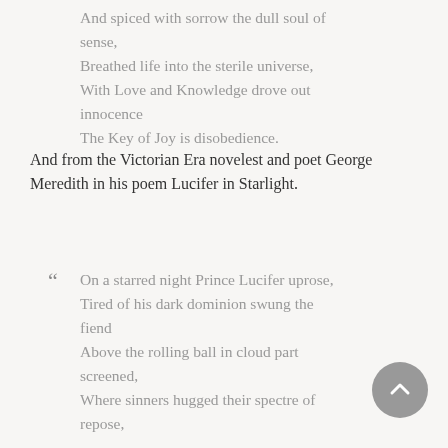And spiced with sorrow the dull soul of sense,
Breathed life into the sterile universe,
With Love and Knowledge drove out innocence
The Key of Joy is disobedience.
And from the Victorian Era novelest and poet George Meredith in his poem Lucifer in Starlight.
“ On a starred night Prince Lucifer uprose,
Tired of his dark dominion swung the fiend
Above the rolling ball in cloud part screened,
Where sinners hugged their spectre of repose,